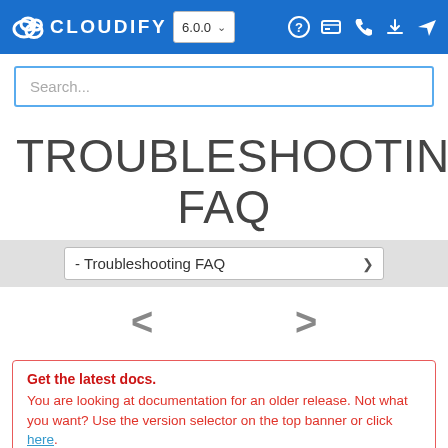CLOUDIFY 6.0.0 navigation bar with logo, version selector, and icons
[Figure (screenshot): Search input box with placeholder text 'Search...']
TROUBLESHOOTING FAQ
[Figure (screenshot): Dropdown selector showing '- Troubleshooting FAQ']
[Figure (screenshot): Previous and next navigation arrows (< and >)]
Get the latest docs. You are looking at documentation for an older release. Not what you want? Use the version selector on the top banner or click here.